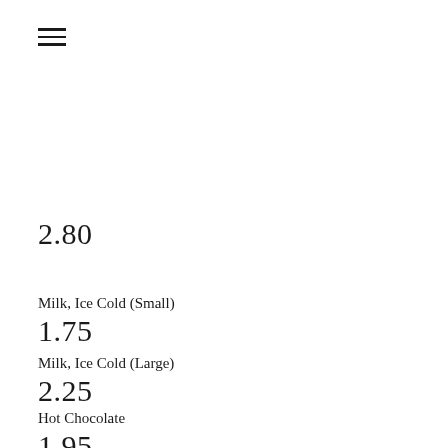[Figure (other): Hamburger menu icon (three horizontal lines)]
2.80
Milk, Ice Cold (Small)
1.75
Milk, Ice Cold (Large)
2.25
Hot Chocolate
1.95